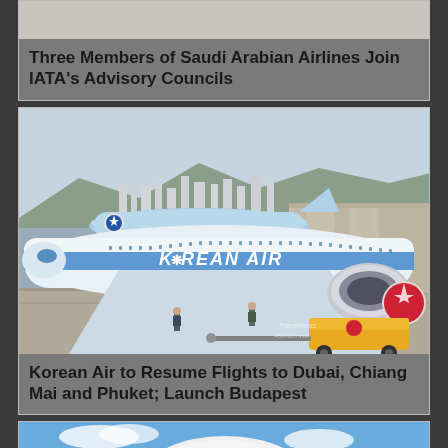[Figure (photo): Partial view of an aircraft at an airport, cropped at top of page]
Three Members of Saudi Arabian Airlines Join IATA's Advisory Councils
[Figure (photo): Korean Air aircraft being towed on tarmac with ground crew and tow vehicle. Airport and mountains visible in background. Korean Air livery on fuselage. Watermark: TravelNews, ASIAtoTravel.]
Korean Air to Resume Flights to Dubai, Chiang Mai and Phuket; Launch Budapest
[Figure (photo): Partial view of a white aircraft against blue sky, cropped at bottom of page]